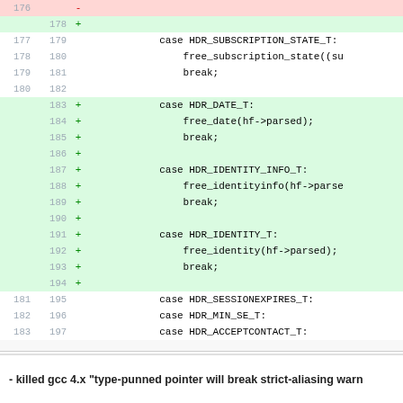[Figure (screenshot): Code diff view showing lines 176-197 with removed line (pink background, line 176 with '-') and added lines (green background, lines 178-194 with '+') for HDR_DATE_T, HDR_IDENTITY_INFO_T, HDR_IDENTITY_T cases, and neutral lines for HDR_SUBSCRIPTION_STATE_T, HDR_SESSIONEXPIRES_T, HDR_MIN_SE_T, HDR_ACCEPTCONTACT_T cases.]
- killed gcc 4.x "type-punned pointer will break strict-aliasing warn...